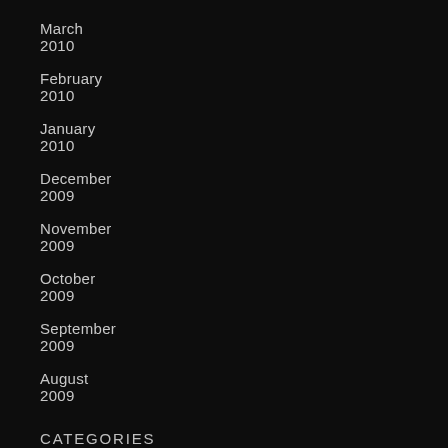March 2010
February 2010
January 2010
December 2009
November 2009
October 2009
September 2009
August 2009
CATEGORIES
Acquisitions
Aldrich Museum of Contemporary Art
Allies for Art